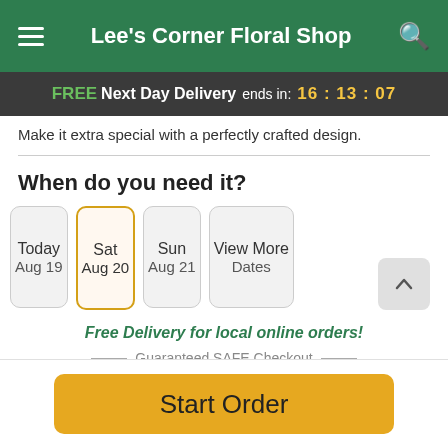Lee's Corner Floral Shop
FREE Next Day Delivery ends in: 16:13:07
Make it extra special with a perfectly crafted design.
When do you need it?
Today Aug 19
Sat Aug 20
Sun Aug 21
View More Dates
Free Delivery for local online orders!
Guaranteed SAFE Checkout
[Figure (infographic): Payment icons: VISA, Mastercard, American Express, Discover, Apple Pay]
Start Order